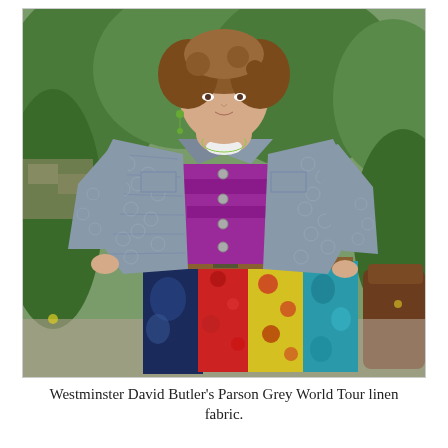[Figure (photo): A woman standing outdoors wearing a grey patterned linen jacket over a purple blouse and a colorful patchwork skirt. The jacket has a geometric star/diamond print in grey-blue tones with button details and chest pockets. The skirt features multiple colorful fabric panels. Background shows green bushes and stone wall.]
Westminster David Butler's Parson Grey World Tour linen fabric.